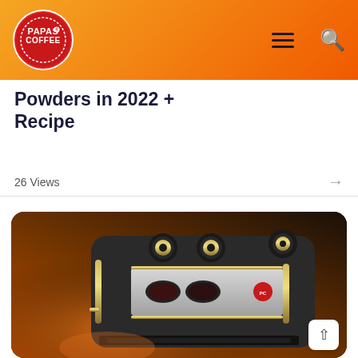Papas Coffee — navigation header with logo, hamburger menu, and search icon
Powders in 2022 + Recipe
26 Views
[Figure (photo): Close-up photo of a professional espresso machine with black knobs, chrome accents, and steam wands, with warm orange/amber backlighting]